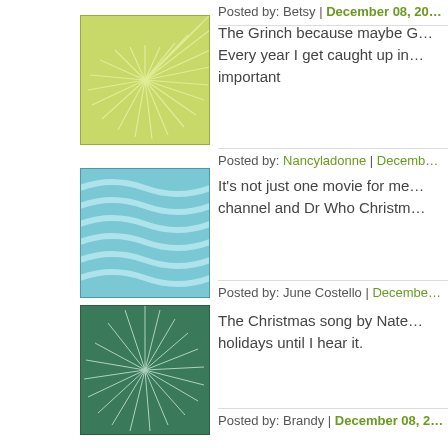Posted by: Betsy | December 08, 20...
[Figure (illustration): Green abstract sunburst avatar icon]
The Grinch because maybe G... Every year I get caught up in... important
Posted by: Nancyladonne | Decemb...
[Figure (illustration): Blue wave pattern avatar icon]
It's not just one movie for me... channel and Dr Who Christm...
Posted by: June Costello | December...
[Figure (illustration): Dark green feather/starburst pattern avatar icon]
The Christmas song by Nate... holidays until I hear it.
Posted by: Brandy | December 08, 2...
[Figure (illustration): Green geometric voronoi pattern avatar icon]
Love to watch the Christmas... marathon! Really puts you in...
Posted by: Renee Shipe | December...